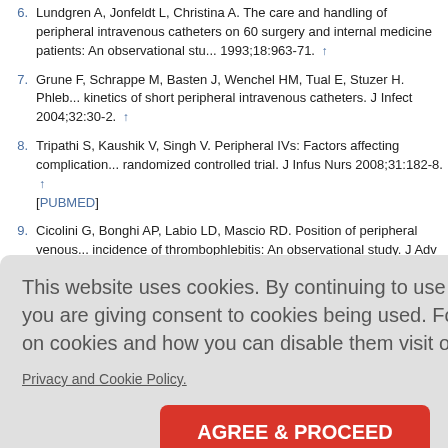6. Lundgren A, Jonfeldt L, Christina A. The care and handling of peripheral intravenous catheters on 60 surgery and internal medicine patients: An observational study. J Infus Nurs 1993;18:963-71. ↑
7. Grune F, Schrappe M, Basten J, Wenchel HM, Tual E, Stuzer H. Phlebitis kinetics of short peripheral intravenous catheters. J Infect 2004;32:30-2. ↑
8. Tripathi S, Kaushik V, Singh V. Peripheral IVs: Factors affecting complications and patency — a randomized controlled trial. J Infus Nurs 2008;31:182-8. ↑ [PUBMED]
9. Cicolini G, Bonghi AP, Labio LD, Mascio RD. Position of peripheral venous catheters and incidence of thrombophlebitis: An observational study. J Adv Nurs 2009;65:1...
[Figure (screenshot): Cookie consent banner overlay on a medical reference page. The banner has a grey background, displays cookie consent text, a 'Privacy and Cookie Policy.' link, and a red 'AGREE & PROCEED' button.]
al inline filter...388-94. ↑
eter compli...y/ivccomplic...18]. ↑
[Figure 1]